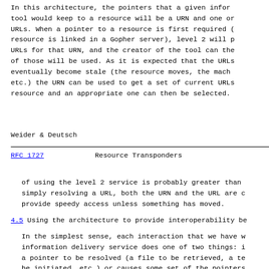In this architecture, the pointers that a given infor tool would keep to a resource will be a URN and one o URLs. When a pointer to a resource is first required resource is linked in a Gopher server), level 2 will p URLs for that URN, and the creator of the tool can the of those will be used. As it is expected that the URLs eventually become stale (the resource moves, the mach etc.) the URN can be used to get a set of current URLs resource and an appropriate one can then be selected.
Weider & Deutsch
RFC 1727                    Resource Transponders
of using the level 2 service is probably greater than simply resolving a URL, both the URN and the URL are provide speedy access unless something has moved.
4.5 Using the architecture to provide interoperability be
In the simplest sense, each interaction that we have w information delivery service does one of two things: a pointer to be resolved (a file to be retrieved, a t be initiated, etc.) or causes some set of the pointers the information service to be selected. At this level